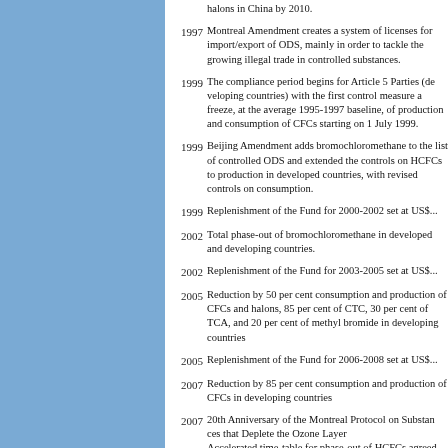halons in China by 2010.
1997 Montreal Amendment creates a system of licenses for import/export of ODS, mainly in order to tackle the growing illegal trade in controlled substances.
1999 The compliance period begins for Article 5 Parties (developing countries) with the first control measure a freeze, at the average 1995-1997 baseline, of production and consumption of CFCs starting on 1 July 1999.
1999 Beijing Amendment adds bromochloromethane to the list of controlled ODS and extended the controls on HCFCs to production in developed countries, with revised controls on consumption.
1999 Replenishment of the Fund for 2000-2002 set at US$...
2002 Total phase-out of bromochloromethane in developed and developing countries.
2002 Replenishment of the Fund for 2003-2005 set at US$...
2005 Reduction by 50 per cent consumption and production of CFCs and halons, 85 per cent of CTC, 30 per cent of TCA, and 20 per cent of methyl bromide in developing countries
2005 Replenishment of the Fund for 2006-2008 set at US$...
2007 Reduction by 85 per cent consumption and production of CFCs in developing countries
2007 20th Anniversary of the Montreal Protocol on Substances that Deplete the Ozone Layer. Accelerated time-table for phase-out of HCFCs agreed.
2008 The Executive Committee approved guidelines to assist countries to prepare an HCFC phase-out management plan (HPMP).
2008 Replenishment of the Fund for 2009-2011 set at US $...
2010 At its 60th meeting, the Executive Committee approved HCFC phase-out management plans (HPMPs) for Maldiv...